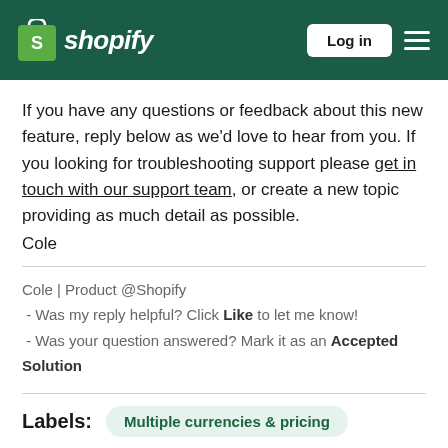[Figure (logo): Shopify header with logo, Log in button, and hamburger menu on dark green background]
If you have any questions or feedback about this new feature, reply below as we'd love to hear from you. If you looking for troubleshooting support please get in touch with our support team, or create a new topic providing as much detail as possible.
Cole
Cole | Product @Shopify
 - Was my reply helpful? Click Like to let me know!
 - Was your question answered? Mark it as an Accepted Solution
Labels: Multiple currencies & pricing